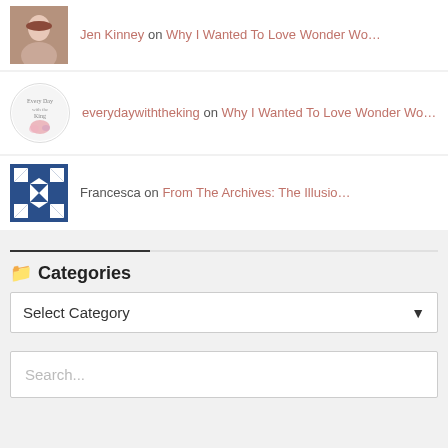Jen Kinney on Why I Wanted To Love Wonder Wo…
everydaywiththeking on Why I Wanted To Love Wonder Wo…
Francesca on From The Archives: The Illusio…
Categories
Select Category
Search...